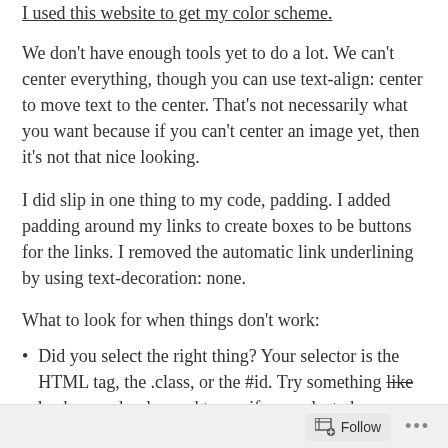I used this website to get my color scheme.
We don't have enough tools yet to do a lot. We can't center everything, though you can use text-align: center to move text to the center. That's not necessarily what you want because if you can't center an image yet, then it's not that nice looking.
I did slip in one thing to my code, padding. I added padding around my links to create boxes to be buttons for the links. I removed the automatic link underlining by using text-decoration: none.
What to look for when things don't work:
Did you select the right thing? Your selector is the HTML tag, the .class, or the #id. Try something like background-color: red to see if you selected
Follow ...